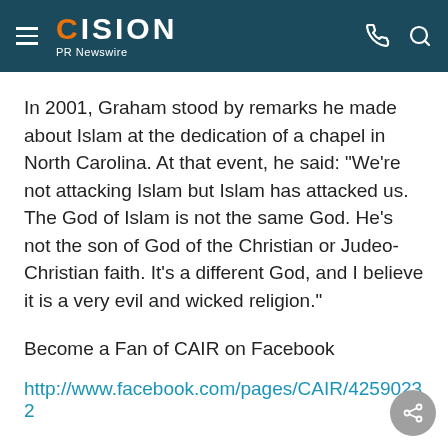CISION PR Newswire
In 2001, Graham stood by remarks he made about Islam at the dedication of a chapel in North Carolina. At that event, he said: "We're not attacking Islam but Islam has attacked us. The God of Islam is not the same God. He's not the son of God of the Christian or Judeo-Christian faith. It's a different God, and I believe it is a very evil and wicked religion."
Become a Fan of CAIR on Facebook
http://www.facebook.com/pages/CAIR/42590232...